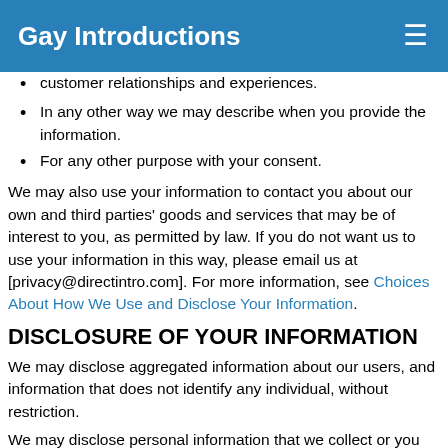Gay Introductions
customer relationships and experiences.
In any other way we may describe when you provide the information.
For any other purpose with your consent.
We may also use your information to contact you about our own and third parties' goods and services that may be of interest to you, as permitted by law. If you do not want us to use your information in this way, please email us at [privacy@directintro.com]. For more information, see Choices About How We Use and Disclose Your Information.
DISCLOSURE OF YOUR INFORMATION
We may disclose aggregated information about our users, and information that does not identify any individual, without restriction.
We may disclose personal information that we collect or you provide as described in this privacy policy:
To our subsidiaries and affiliates.
Under applicable law, to a buyer or other successor in the event of a merger, divestiture, restructuring, reorganization,